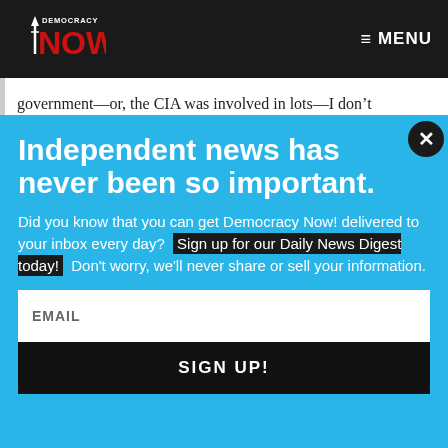Democracy Now! — MENU
government—or, the CIA was involved in lots—I don't
Independent news has never been so important.
Did you know that you can get Democracy Now! delivered to your inbox every day? Sign up for our Daily News Digest today! Don't worry, we'll never share or sell your information.
EMAIL
SIGN UP!